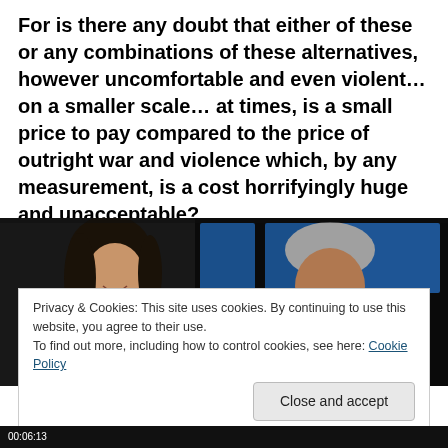For is there any doubt that either of these or any combinations of these alternatives, however uncomfortable and even violent…on a smaller scale… at times, is a small price to pay compared to the price of outright war and violence which, by any measurement, is a cost horrifyingly huge and unacceptable?
[Figure (photo): Two people seated in a dark TV studio setting with blue background panels. A woman on the left with dark hair is smiling, and a man on the right with grey hair is smiling.]
Privacy & Cookies: This site uses cookies. By continuing to use this website, you agree to their use.
To find out more, including how to control cookies, see here: Cookie Policy
Close and accept
00:06:13